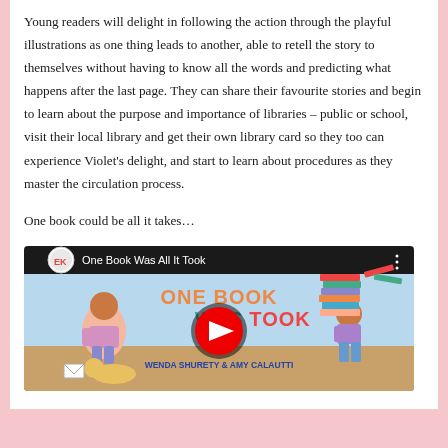Young readers will delight in following the action through the playful illustrations as one thing leads to another, able to retell the story to themselves without having to know all the words and predicting what happens after the last page. They can share their favourite stories and begin to learn about the purpose and importance of libraries – public or school, visit their local library and get their own library card so they too can experience Violet's delight, and start to learn about procedures as they master the circulation process.
One book could be all it takes…
[Figure (screenshot): YouTube video thumbnail for 'One Book Was All It Took' by Wenda Shurety & Amy Calautti, showing illustrated children's book cover with a girl, a stack of books, and a dog, with a YouTube play button overlay.]